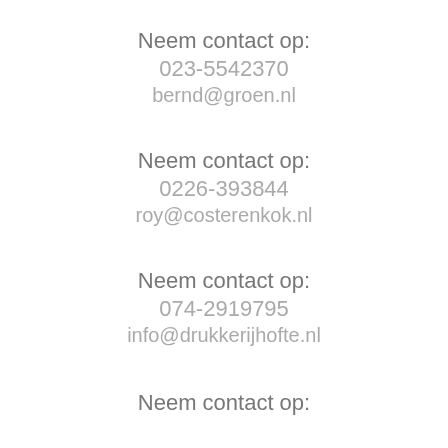Neem contact op:
023-5542370
bernd@groen.nl
Neem contact op:
0226-393844
roy@costerenkok.nl
Neem contact op:
074-2919795
info@drukkerijhofte.nl
Neem contact op: